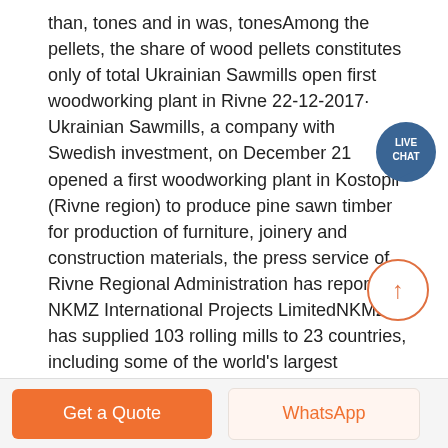than, tones and in was, tonesAmong the pellets, the share of wood pellets constitutes only of total Ukrainian Sawmills open first woodworking plant in Rivne 22-12-2017· Ukrainian Sawmills, a company with Swedish investment, on December 21 opened a first woodworking plant in Kostopil (Rivne region) to produce pine sawn timber for production of furniture, joinery and construction materials, the press service of Rivne Regional Administration has reported. NKMZ International Projects LimitedNKMZ has supplied 103 rolling mills to 23 countries, including some of the world's largest 2000mm Hot Strip Mills that are operated at NLMK, MMK, SEVERSTAL, and BOKARO STEEL PLANT with productivity of 3.5-6.0 million tonnes of Hot Rolled Coils, as well as 2500mm-wide Hot Strip Mills operated by MMK, which is considered the widest in the world.
[Figure (other): Live Chat button bubble - teal/dark blue circle with 'LIVE CHAT' text and speech bubble tail]
[Figure (other): Scroll to top circular button - orange outlined circle with upward arrow]
Get a Quote
WhatsApp